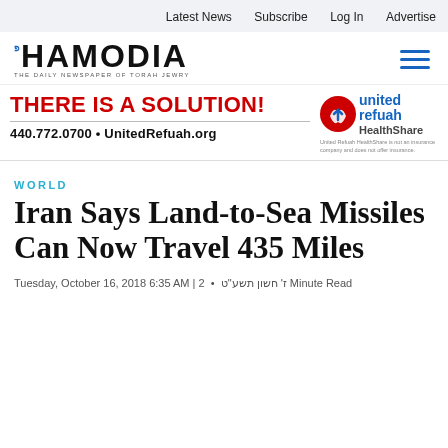Latest News   Subscribe   Log In   Advertise
[Figure (logo): Hamodia newspaper logo with Hebrew text and tagline 'THE DAILY NEWSPAPER OF TORAH JEWRY']
[Figure (infographic): United Refuah HealthShare advertisement. 'THERE IS A SOLUTION!' in red, phone 440.772.0700 and UnitedRefuah.org, with United Refuah HealthShare logo on the right. Disclaimer: United Refuah HealthShare is not an insurance company and does not offer insurance.]
WORLD
Iran Says Land-to-Sea Missiles Can Now Travel 435 Miles
Tuesday, October 16, 2018 6:35 AM | ז' חשון תשע"ט  •  2 Minute Read